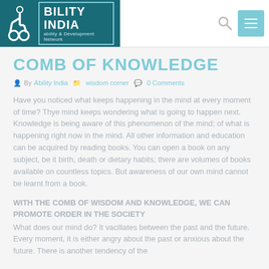BILITY INDIA | ability & Development Network
COMB OF KNOWLEDGE
By Ability India | wisdom corner | 0 Comments
Have you noticed what keeps happening in the mind at every moment of time? Thye mind keeps wondering what is going to happen next. Knowledge is being aware of this phenomenon of the mind; of what is happening right now in the mind. All other information and education can be acquired by reading books. You can open a book on any subject, be it birth, death or dietary habits; there are volumes of books available on countless topics. But awareness of our own mind cannot be learnt from a book.
WITH THE COMB OF WISDOM AND KNOWLEDGE, WE CAN PROMOTE ORDER IN THE SOCIETY
What does our mind do? It vacillates between the past and the future. Every moment, it is either angry about the past or anxious about the future. There is another tendency of the